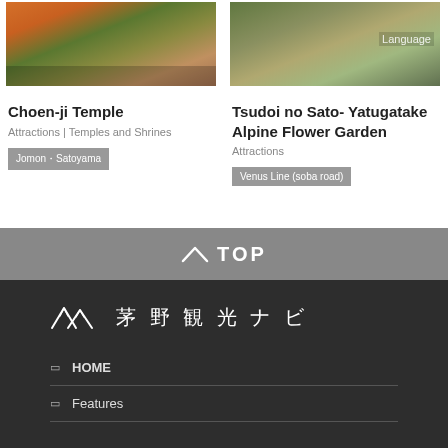[Figure (photo): Photo of Choen-ji Temple with autumn foliage and traditional architecture]
Choen-ji Temple
Attractions | Temples and Shrines
Jomon・Satoyama
[Figure (photo): Photo of Tsudoi no Sato Yatugatake Alpine Flower Garden outdoor area]
Tsudoi no Sato- Yatugatake Alpine Flower Garden
Attractions
Venus Line (soba road)
∧ TOP
[Figure (logo): Chino Tourism Navi logo with mountain icon and Japanese characters 茅野観光ナビ]
HOME
Features